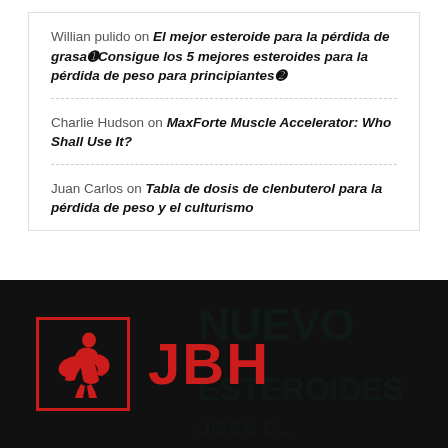Willian pulido on El mejor esteroide para la pérdida de grasa①Consigue los 5 mejores esteroides para la pérdida de peso para principiantes②
Charlie Hudson on MaxForte Muscle Accelerator: Who Shall Use It?
Juan Carlos on Tabla de dosis de clenbuterol para la pérdida de peso y el culturismo
[Figure (logo): JBH logo with red muscular figure icon in a red-bordered black square, followed by the red bold text JBH]